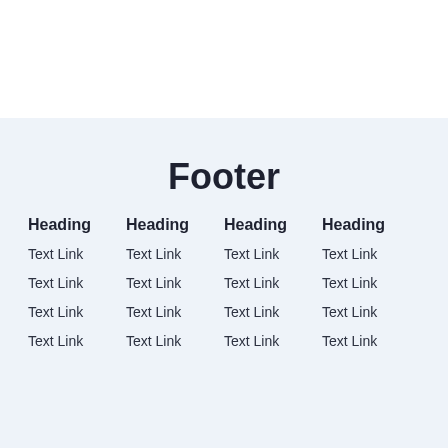Footer
Heading
Heading
Heading
Heading
Text Link
Text Link
Text Link
Text Link
Text Link
Text Link
Text Link
Text Link
Text Link
Text Link
Text Link
Text Link
Text Link
Text Link
Text Link
Text Link